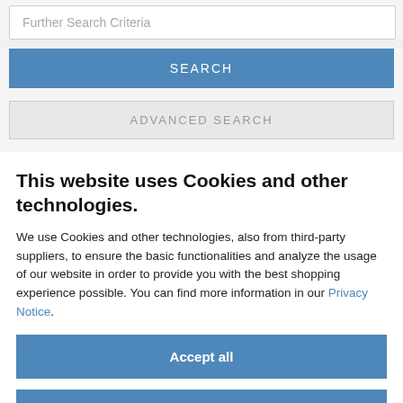Further Search Criteria
SEARCH
ADVANCED SEARCH
This website uses Cookies and other technologies.
We use Cookies and other technologies, also from third-party suppliers, to ensure the basic functionalities and analyze the usage of our website in order to provide you with the best shopping experience possible. You can find more information in our Privacy Notice.
Accept all
label_button_only_essentials
More information